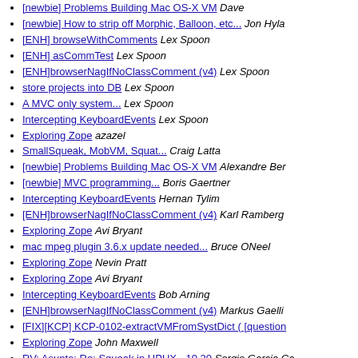[newbie] Problems Building Mac OS-X VM  Dave
[newbie] How to strip off Morphic, Balloon, etc...  Jon Hyla
[ENH] browseWithComments  Lex Spoon
[ENH] asCommTest  Lex Spoon
[ENH]browserNagIfNoClassComment (v4)  Lex Spoon
store projects into DB  Lex Spoon
A MVC only system...  Lex Spoon
Intercepting KeyboardEvents  Lex Spoon
Exploring Zope  azazel
SmallSqueak, MobVM, Squat...  Craig Latta
[newbie] Problems Building Mac OS-X VM  Alexandre Ber
[newbie] MVC programming...  Boris Gaertner
Intercepting KeyboardEvents  Hernan Tylim
[ENH]browserNagIfNoClassComment (v4)  Karl Ramberg
Exploring Zope  Avi Bryant
mac mpeg plugin 3.6.x update needed...  Bruce ONeel
Exploring Zope  Nevin Pratt
Exploring Zope  Avi Bryant
Intercepting KeyboardEvents  Bob Arning
[ENH]browserNagIfNoClassComment (v4)  Markus Gaelli
[FIX][KCP] KCP-0102-extractVMFromSystDict ( [question
Exploring Zope  John Maxwell
RV: Asunto: Re: Squeak in HPUX - 10.20  Sergio Garcia Ca
ShrinkingSelection  Pravin A. Sable
initialisation problem  Shalabh Raizada